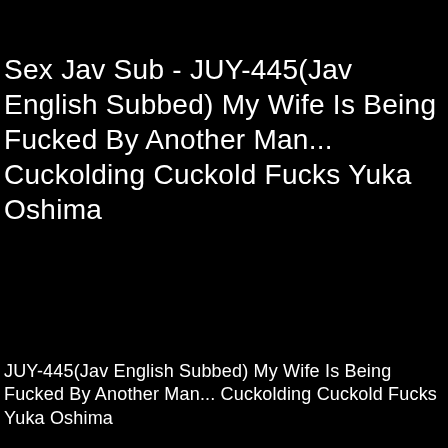Sex Jav Sub - JUY-445(Jav English Subbed) My Wife Is Being Fucked By Another Man... Cuckolding Cuckold Fucks Yuka Oshima
JUY-445(Jav English Subbed) My Wife Is Being Fucked By Another Man... Cuckolding Cuckold Fucks Yuka Oshima